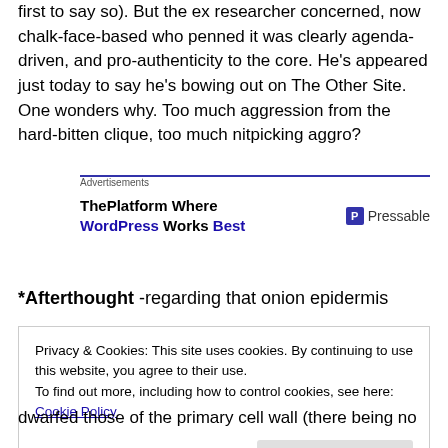first to say so). But the ex researcher concerned, now chalk-face-based who penned it was clearly agenda-driven, and pro-authenticity to the core. He's appeared just today to say he's bowing out on The Other Site. One wonders why. Too much aggression from the hard-bitten clique, too much nitpicking aggro?
[Figure (other): Advertisements banner: ThePlatform Where WordPress Works Best | Pressable]
*Afterthought -regarding that onion epidermis
Privacy & Cookies: This site uses cookies. By continuing to use this website, you agree to their use.
To find out more, including how to control cookies, see here: Cookie Policy
dwarfed those of the primary cell wall (there being no